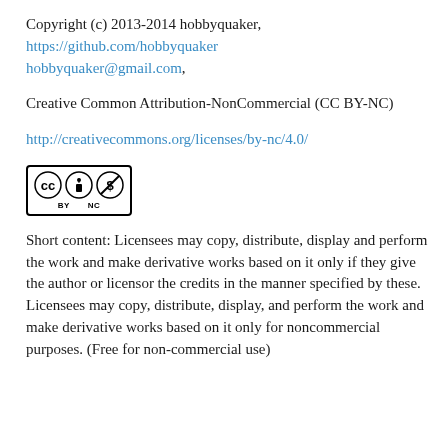Copyright (c) 2013-2014 hobbyquaker, https://github.com/hobbyquaker hobbyquaker@gmail.com,
Creative Common Attribution-NonCommercial (CC BY-NC)
http://creativecommons.org/licenses/by-nc/4.0/
[Figure (logo): Creative Commons BY-NC license badge showing CC, BY, and NC icons in a black bordered box]
Short content: Licensees may copy, distribute, display and perform the work and make derivative works based on it only if they give the author or licensor the credits in the manner specified by these. Licensees may copy, distribute, display, and perform the work and make derivative works based on it only for noncommercial purposes. (Free for non-commercial use)